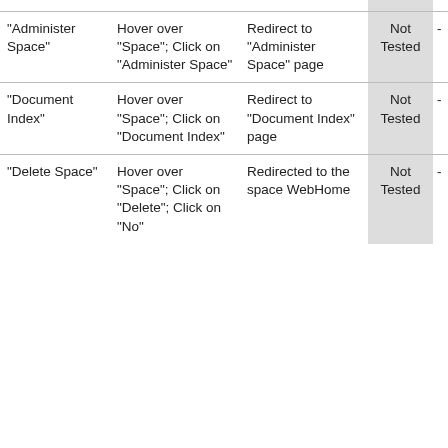| Feature | Steps | Expected Result | Status | Notes |
| --- | --- | --- | --- | --- |
| "Watch Space" | Hover over "Space"; Click on "Unwatch Space" | The star turns gray and the writing to "Watch Space" | Not Tested |  |
| "Administer Space" | Hover over "Space"; Click on "Administer Space" | Redirect to "Administer Space" page | Not Tested | - |
| "Document Index" | Hover over "Space"; Click on "Document Index" | Redirect to "Document Index" page | Not Tested | - |
| "Delete Space" | Hover over "Space"; Click on "Delete"; Click on "No" | Redirected to the space WebHome | Not Tested | - |